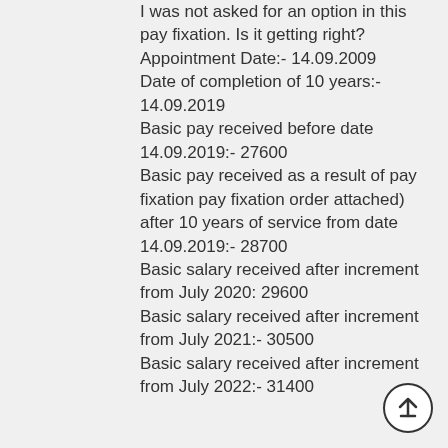I was not asked for an option in this pay fixation. Is it getting right? Appointment Date:- 14.09.2009 Date of completion of 10 years:- 14.09.2019 Basic pay received before date 14.09.2019:- 27600 Basic pay received as a result of pay fixation pay fixation order attached) after 10 years of service from date 14.09.2019:- 28700 Basic salary received after increment from July 2020: 29600 Basic salary received after increment from July 2021:- 30500 Basic salary received after increment from July 2022:- 31400